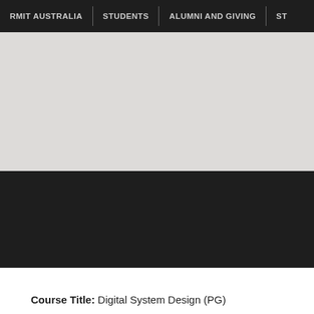RMIT AUSTRALIA | STUDENTS | ALUMNI AND GIVING | ST
[Figure (other): Light grey banner/hero image area]
[Figure (other): Dark/black band section below grey banner]
Course Title: Digital System Design (PG)
Credit Points: 12.00